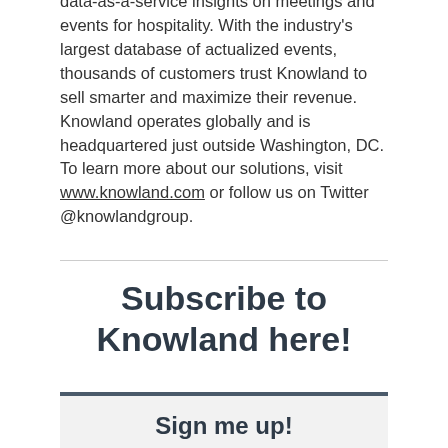data-as-a-service insights on meetings and events for hospitality. With the industry's largest database of actualized events, thousands of customers trust Knowland to sell smarter and maximize their revenue. Knowland operates globally and is headquartered just outside Washington, DC. To learn more about our solutions, visit www.knowland.com or follow us on Twitter @knowlandgroup.
Subscribe to Knowland here!
Sign me up!